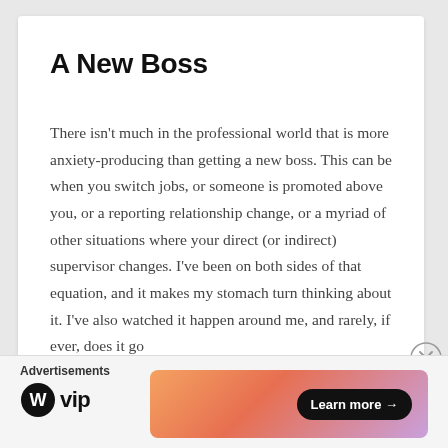A New Boss
There isn't much in the professional world that is more anxiety-producing than getting a new boss. This can be when you switch jobs, or someone is promoted above you, or a reporting relationship change, or a myriad of other situations where your direct (or indirect) supervisor changes. I've been on both sides of that equation, and it makes my stomach turn thinking about it. I've also watched it happen around me, and rarely, if ever, does it go
Advertisements